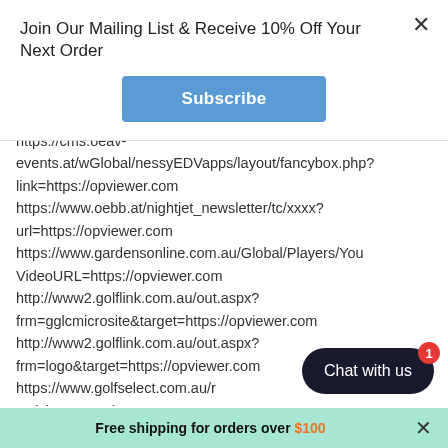Join Our Mailing List & Receive 10% Off Your Next Order
Subscribe
https://cms.oeav-events.at/wGlobal/nessyEDVapps/layout/fancybox.php?link=https://opviewer.com https://www.oebb.at/nightjet_newsletter/tc/xxxx?url=https://opviewer.com https://www.gardensonline.com.au/Global/Players/YouTube.aspx?VideoURL=https://opviewer.com http://www2.golflink.com.au/out.aspx?frm=gglcmicrosite&target=https://opviewer.com http://www2.golflink.com.au/out.aspx?frm=logo&target=https://opviewer.com https://www.golfselect.com.au/redirect?activityType_cd=WEB-LINK&courseid=2568&tgturl=https://opviewer.com
Chat with us
Free shipping for orders over $100